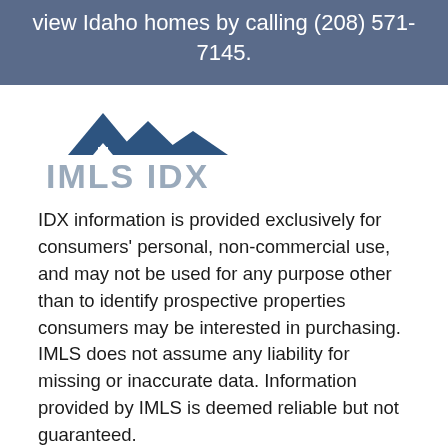view Idaho homes by calling (208) 571-7145.
[Figure (logo): IMLS IDX logo with mountain peaks graphic above the text 'IMLS IDX' in grey letters]
IDX information is provided exclusively for consumers' personal, non-commercial use, and may not be used for any purpose other than to identify prospective properties consumers may be interested in purchasing. IMLS does not assume any liability for missing or inaccurate data. Information provided by IMLS is deemed reliable but not guaranteed.
Listing information last updated on